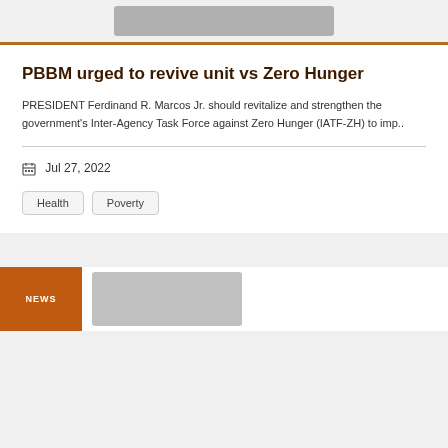[Figure (other): Gray placeholder image rectangle at top]
PBBM urged to revive unit vs Zero Hunger
PRESIDENT Ferdinand R. Marcos Jr. should revitalize and strengthen the government's Inter-Agency Task Force against Zero Hunger (IATF-ZH) to imp..
Jul 27, 2022
Health
Poverty
NEWS